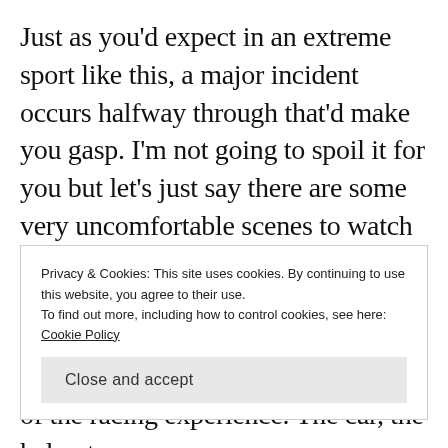Just as you'd expect in an extreme sport like this, a major incident occurs halfway through that'd make you gasp. I'm not going to spoil it for you but let's just say there are some very uncomfortable scenes to watch here that seemed to go on forever. The attention to detail achieved by the cinematography and sound editing truly create an authentic feel of the racing experience. The car, the helmet,
Privacy & Cookies: This site uses cookies. By continuing to use this website, you agree to their use.
To find out more, including how to control cookies, see here: Cookie Policy